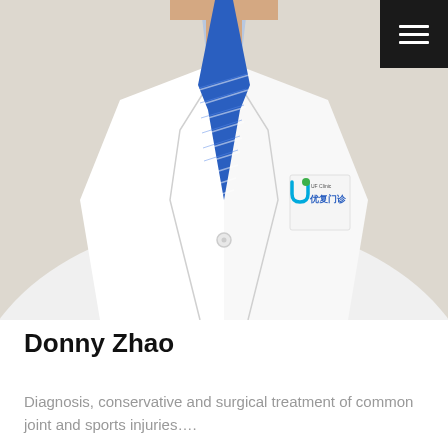[Figure (photo): Doctor in white lab coat with blue striped tie and light blue dress shirt. A clinic logo badge on the left chest reads 'U 优复门诊' (UF Clinic). The photo is cropped at torso/chest level with a neutral beige background.]
Donny Zhao
Diagnosis, conservative and surgical treatment of common joint and sports injuries…....